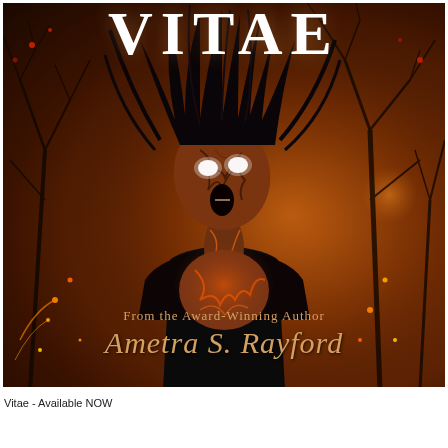[Figure (illustration): Book cover for 'VITAE' by Ametra S. Rayford. Dark horror illustration featuring a woman with her head thrown back, glowing white eyes, cracked/burned skin texture on face and chest, dark hair fanned out above her, wearing a black top. Background shows bare winter trees in a dark reddish-brown atmospheric fog with glowing ember/spark particles. Title 'VITAE' appears in large white serif letters at the top. Author credit reads 'From the Award-Winning Author Ametra S. Rayford' in gold cursive at the bottom of the image.]
Vitae - Available NOW